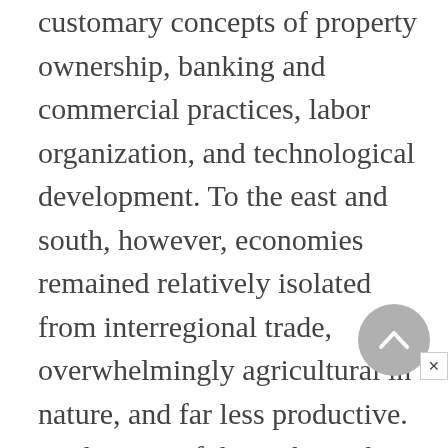customary concepts of property ownership, banking and commercial practices, labor organization, and technological development. To the east and south, however, economies remained relatively isolated from interregional trade, overwhelmingly agricultural in nature, and far less productive. At the start of the eighteenth century all these territories had sported very different administrative structures and legal relations to the regime in Vienna, and